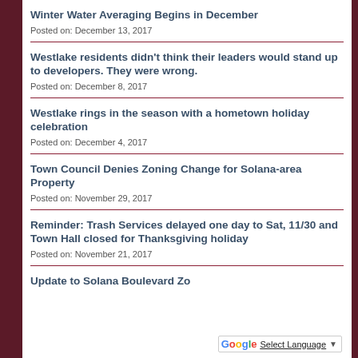Winter Water Averaging Begins in December
Posted on: December 13, 2017
Westlake residents didn't think their leaders would stand up to developers. They were wrong.
Posted on: December 8, 2017
Westlake rings in the season with a hometown holiday celebration
Posted on: December 4, 2017
Town Council Denies Zoning Change for Solana-area Property
Posted on: November 29, 2017
Reminder: Trash Services delayed one day to Sat, 11/30 and Town Hall closed for Thanksgiving holiday
Posted on: November 21, 2017
Update to Solana Boulevard Zo…